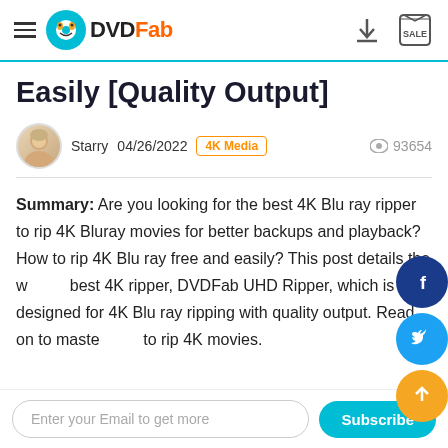DVDFab — hamburger menu, logo, download icon, SALE icon
Easily [Quality Output]
Starry  04/26/2022  4K Media  👁 93654
Summary: Are you looking for the best 4K Blu ray ripper to rip 4K Bluray movies for better backups and playback? How to rip 4K Blu ray free and easily? This post details the world's best 4K ripper, DVDFab UHD Ripper, which is designed for 4K Blu ray ripping with quality output. Read on to master how to rip 4K movies.